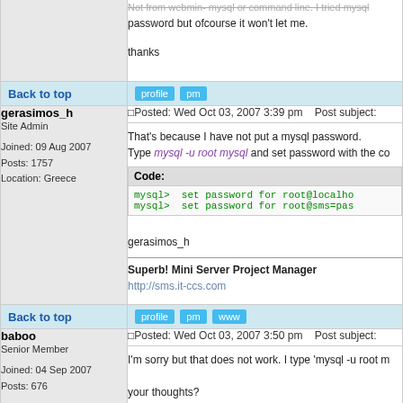Not from webmin- mysql or command line. I tried mysql password but ofcourse it won't let me.

thanks
Back to top
gerasimos_h
Site Admin
Joined: 09 Aug 2007
Posts: 1757
Location: Greece
Posted: Wed Oct 03, 2007 3:39 pm    Post subject:
That's because I have not put a mysql password.
Type mysql -u root mysql and set password with the co
Code:
mysql>  set password for root@localho
mysql>  set password for root@sms=pas
gerasimos_h
________________
Superb! Mini Server Project Manager
http://sms.it-ccs.com
Back to top
baboo
Senior Member
Joined: 04 Sep 2007
Posts: 676
Posted: Wed Oct 03, 2007 3:50 pm    Post subject:
I'm sorry but that does not work. I type 'mysql -u root m

your thoughts?